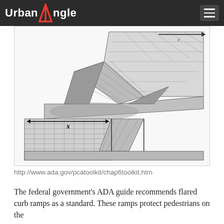Urban Angle
[Figure (illustration): ADA curb ramp illustration showing two diagrams of curb ramps. Top portion shows a flared curb ramp with grid pattern surface and 'x' measurement arrow indicating sidewalk width at top of ramp with text about slope requirements. Bottom portion shows a curb ramp with returned curbs, with 'x' measurement arrow indicating the 48-inch landing requirement at top of ramp. Both diagrams are technical line drawings with hatching and grid patterns.]
sides depend on the width of the sidewalk at the top of the ramp, "x" in the illustration to the right. If "x" is less than 48 inches, then the slope of the flared sides must be no more than 8.33 percent (1:12). If "x" is 48 inches or more, then the flared sides may slope up to 10 percent (1:10) but not more. [§ 4.7.5; Fig. 12(a)]
When pedestrians are not required to walk across the ramp, such as where there is a non-walking surface (grass, for example) or obstructions on both sides of a curb ramp, curb ramps are allowed to have returned curbs. A curb ramp with returned curbs is required to have a landing with maneuvering space at the top of the ramp ("x" in the illustration to the left) that is at least 48 inches because people using mobility devices need an area to turn when getting on and off the ramp. [§ 4.7.5; Fig. 12(b)]
http://www.ada.gov/pcatoolkit/chap6toolkit.htm
The federal government's ADA guide recommends flared curb ramps as a standard. These ramps protect pedestrians on the